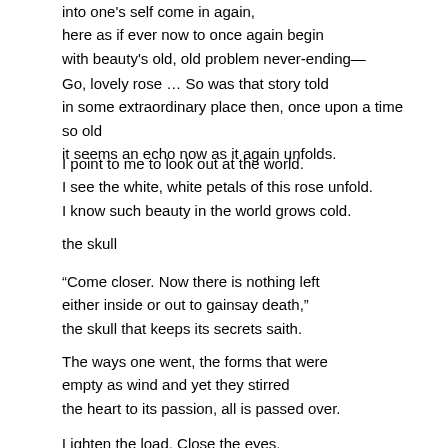into one's self come in again,
here as if ever now to once again begin
with beauty's old, old problem never-ending—
Go, lovely rose … So was that story told
in some extraordinary place then, once upon a time so old
it seems an echo now as it again unfolds.
I point to me to look out at the world.
I see the white, white petals of this rose unfold.
I know such beauty in the world grows cold.
the skull
“Come closer. Now there is nothing left
either inside or out to gainsay death,”
the skull that keeps its secrets saith.
The ways one went, the forms that were
empty as wind and yet they stirred
the heart to its passion, all is passed over.
Lighten the load. Close the eyes.